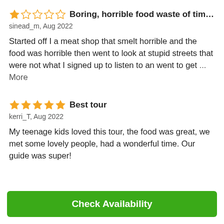★☆☆☆☆ Boring, horrible food waste of time spent m…
sinead_m, Aug 2022
Started off I a meat shop that smelt horrible and the food was horrible then went to look at stupid streets that were not what I signed up to listen to an went to get ... More
★★★★★ Best tour
kerri_T, Aug 2022
My teenage kids loved this tour, the food was great, we met some lovely people, had a wonderful time. Our guide was super!
Check Availability